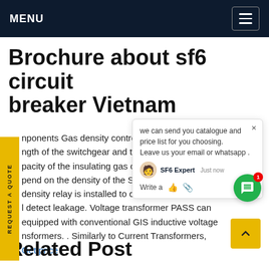MENU
Brochure about sf6 circuit breaker Vietnam
nponents Gas density control Sin ectric ngth of the switchgear and the pacity of the insulating gas circuit pend on the density of the Su gas, a density relay is installed to contr ity l detect leakage. Voltage transformer PASS can equipped with conventional GIS inductive voltage nsformers. . Similarly to Current Transformers,
Get price
Related Post
[Figure (screenshot): Chat popup overlay showing 'we can send you catalogue and price list for you choosing. Leave us your email or whatsapp .' with SF6 Expert avatar and Write a reply area with like and attachment icons]